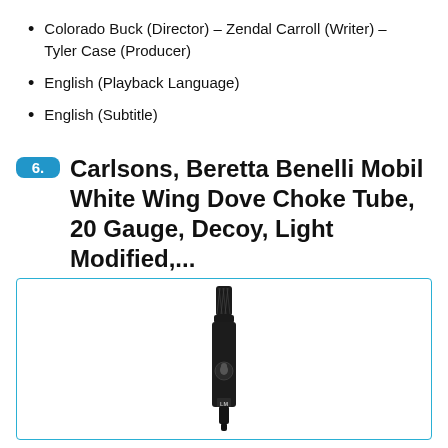Colorado Buck (Director) – Zendal Carroll (Writer) – Tyler Case (Producer)
English (Playback Language)
English (Subtitle)
6. Carlsons, Beretta Benelli Mobil White Wing Dove Choke Tube, 20 Gauge, Decoy, Light Modified,...
[Figure (photo): A black cylindrical choke tube product standing upright against a white background, with diamond-pattern knurling at the top and a bird logo on the body, labeled LM at the bottom.]